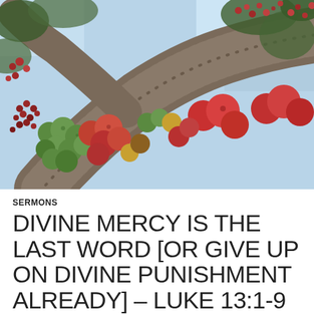[Figure (photo): Photograph taken from below looking up at a large tree trunk with clusters of round fruits in green, red, and orange-red colors hanging from the bark. Sky and leaves visible in the background.]
SERMONS
DIVINE MERCY IS THE LAST WORD [OR GIVE UP ON DIVINE PUNISHMENT ALREADY] – LUKE 13:1-9